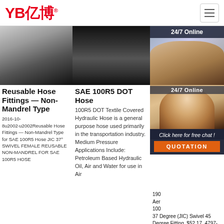YB亿博
[Figure (photo): Three product images in a row: left shows a metal hose fitting closeup, middle shows a coiled hydraulic hose with textile braid, right shows a woman wearing a headset with 24/7 Online badge]
Reusable Hose Fittings — Non-Mandrel Type
2016-10-8u2002·u2002Reusable Hose Fittings — Non-Mandrel Type for SAE 100R5 Hose JIC 37° SWIVEL FEMALE REUSABLE NON-MANDREL FOR SAE 100R5 HOSE
SAE 100R5 DOT Hose
100R5 DOT Textile Covered Hydraulic Hose is a general purpose hose used primarily in the transportation industry. Medium Pressure Applications Include: Petroleum Based Hydraulic Oil, Air and Water for use in Air
[Figure (photo): Customer service chat overlay with woman wearing headset, 24/7 Online text, Click here for free chat message, and QUOTATION button]
1900 Aeroquip 100R5 37 Degree (JIC) Swivel 45 Degree Fitting. $52.17. 4797-4B Eaton Aeroquip Female Universal SAE 45 Degree/JIC 37